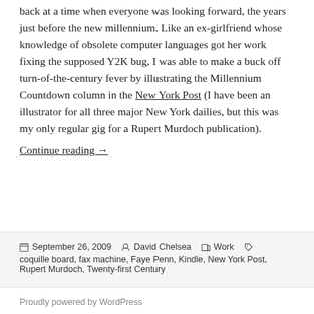back at a time when everyone was looking forward, the years just before the new millennium. Like an ex-girlfriend whose knowledge of obsolete computer languages got her work fixing the supposed Y2K bug, I was able to make a buck off turn-of-the-century fever by illustrating the Millennium Countdown column in the New York Post (I have been an illustrator for all three major New York dailies, but this was my only regular gig for a Rupert Murdoch publication).
Continue reading →
Posted September 26, 2009  Author David Chelsea  Categories Work  Tags coquille board, fax machine, Faye Penn, Kindle, New York Post, Rupert Murdoch, Twenty-first Century
Proudly powered by WordPress